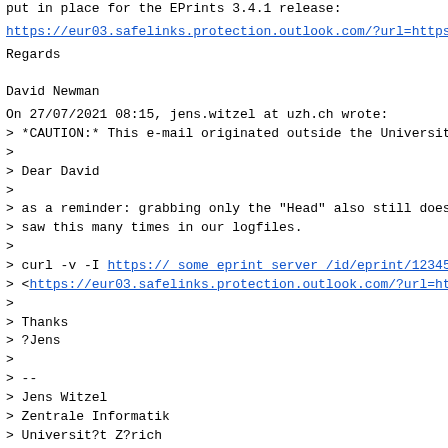put in place for the EPrints 3.4.1 release:
https://eur03.safelinks.protection.outlook.com/?url=https
Regards

David Newman
On 27/07/2021 08:15, jens.witzel at uzh.ch wrote:
> *CAUTION:* This e-mail originated outside the Universit
>
> Dear David
>
> as a reminder: grabbing only the "Head" also still does
> saw this many times in our logfiles.
>
> curl -v -I https:// some eprint server /id/eprint/12345
> <https://eur03.safelinks.protection.outlook.com/?url=ht
>
> Thanks
> ?Jens
>
> --
> Jens Witzel
> Zentrale Informatik
> Universit?t Z?rich
> Stampfenbachstrasse 73
> CH-8006 Z?rich
>
> mail: ?jens.witzel at uzh.ch